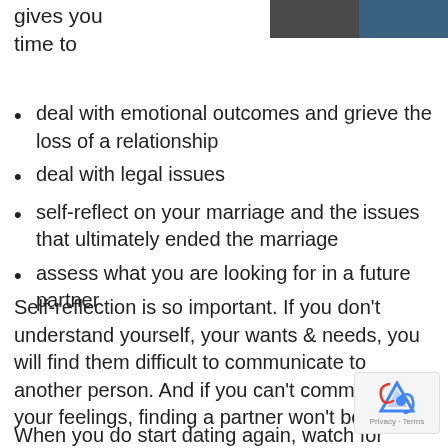[Figure (photo): Partial photo strip at top right of page showing two dark cropped images side by side]
gives you time to
deal with emotional outcomes and grieve the loss of a relationship
deal with legal issues
self-reflect on your marriage and the issues that ultimately ended the marriage
assess what you are looking for in a future partner
Self-reflection is so important. If you don't understand yourself, your wants & needs, you will find them difficult to communicate to another person. And if you can't communicate your feelings, finding a partner won't be easy.
When you do start dating again, watch for these